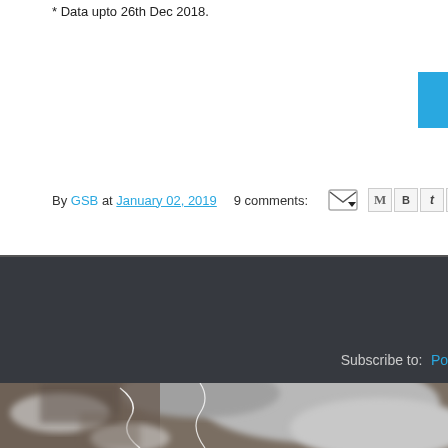* Data upto 26th Dec 2018.
By GSB at January 02, 2019   9 comments:
Newer Posts
Home
Subscribe to: Po...
[Figure (photo): Satellite image showing cloud cover and terrain with white boundary lines visible]